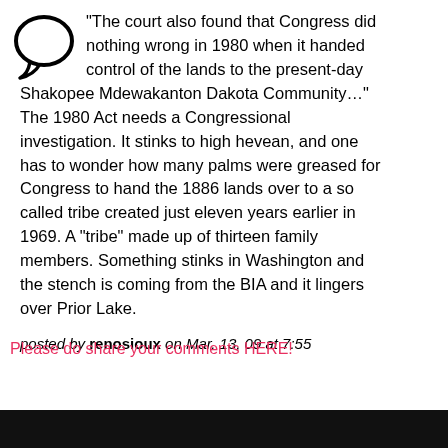"The court also found that Congress did nothing wrong in 1980 when it handed control of the lands to the present-day Shakopee Mdewakanton Dakota Community…" The 1980 Act needs a Congressional investigation. It stinks to high hevean, and one has to wonder how many palms were greased for Congress to hand the 1886 lands over to a so called tribe created just eleven years earlier in 1969. A "tribe" made up of thirteen family members. Something stinks in Washington and the stench is coming from the BIA and it lingers over Prior Lake.
posted by renosioux on Mar. 13, 09 at 7:55
Please do share your comments HERE!